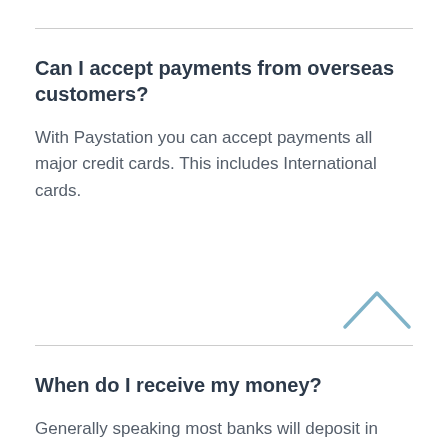Can I accept payments from overseas customers?
With Paystation you can accept payments all major credit cards. This includes International cards.
When do I receive my money?
Generally speaking most banks will deposit in your settlement account the next business day, while ASB